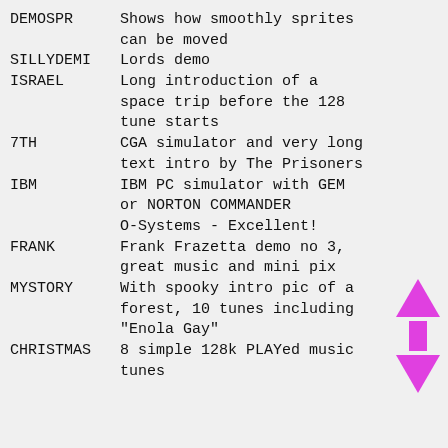DEMOSPR    Shows how smoothly sprites can be moved
SILLYDEMI  Lords demo
ISRAEL     Long introduction of a space trip before the 128 tune starts
7TH        CGA simulator and very long text intro by The Prisoners
IBM        IBM PC simulator with GEM or NORTON COMMANDER O-Systems - Excellent!
FRANK      Frank Frazetta demo no 3, great music and mini pix
MYSTORY    With spooky intro pic of a forest, 10 tunes including "Enola Gay"
CHRISTMAS  8 simple 128k PLAYed music tunes